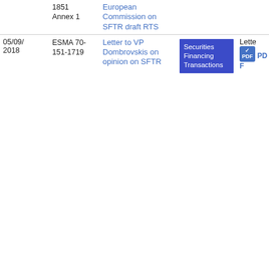| Date | Reference | Title | Tag | Type | Size |
| --- | --- | --- | --- | --- | --- |
|  | 1851
Annex 1 | European Commission on SFTR draft RTS |  |  | 9.5 KB |
| 05/09/2018 | ESMA 70-151-1719 | Letter to VP Dombrovskis on opinion on SFTR | Securities Financing Transactions | Lette
PDF | 21
3.13 KB |